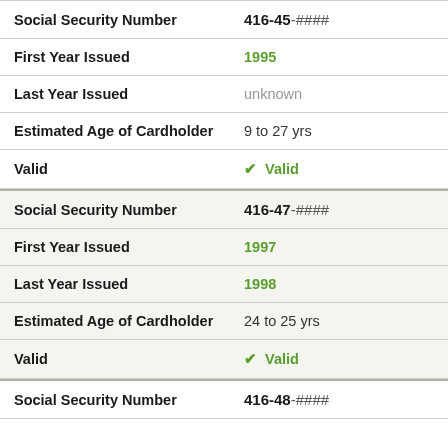| Field | Value |
| --- | --- |
| Social Security Number | 416-45-#### |
| First Year Issued | 1995 |
| Last Year Issued | unknown |
| Estimated Age of Cardholder | 9 to 27 yrs |
| Valid | ✓ Valid |
| Social Security Number | 416-47-#### |
| First Year Issued | 1997 |
| Last Year Issued | 1998 |
| Estimated Age of Cardholder | 24 to 25 yrs |
| Valid | ✓ Valid |
| Social Security Number | 416-48-#### |